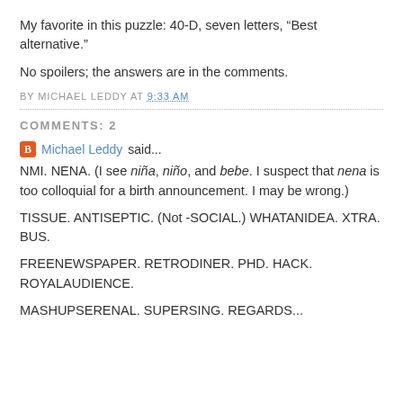My favorite in this puzzle: 40-D, seven letters, “Best alternative.”
No spoilers; the answers are in the comments.
BY MICHAEL LEDDY AT 9:33 AM
COMMENTS: 2
Michael Leddy said...
NMI. NENA. (I see niña, niño, and bebe. I suspect that nena is too colloquial for a birth announcement. I may be wrong.)
TISSUE. ANTISEPTIC. (Not -SOCIAL.) WHATANIDEA. XTRA. BUS.
FREENEWSPAPER. RETRODINER. PHD. HACK. ROYALAUDIENCE.
MASHUPSERENAL. SUPERSING. REGARDS...